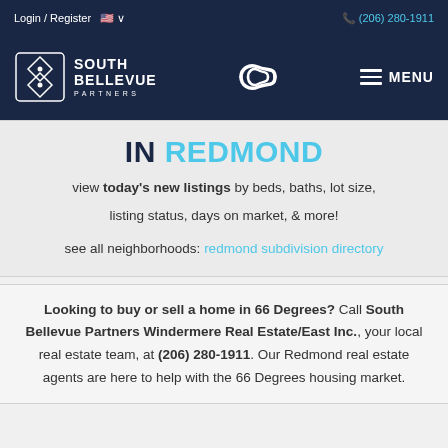Login / Register  🇺🇸 ∨    (206) 280-1911
[Figure (logo): South Bellevue Partners logo with diamond icon, center chain-link logo, and MENU hamburger icon on dark navy background]
IN REDMOND
view today's new listings by beds, baths, lot size, listing status, days on market, & more!
see all neighborhoods: redmond subdivision directory
Looking to buy or sell a home in 66 Degrees? Call South Bellevue Partners Windermere Real Estate/East Inc., your local real estate team, at (206) 280-1911. Our Redmond real estate agents are here to help with the 66 Degrees housing market.